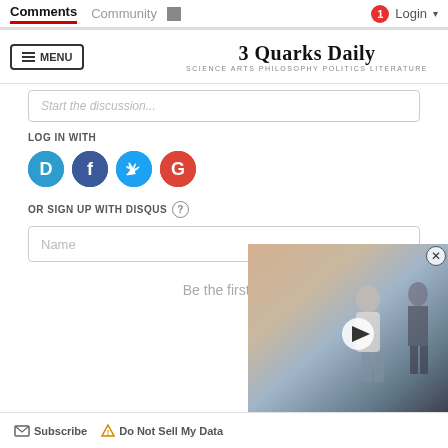Comments  Community  Login
[Figure (screenshot): 3 Quarks Daily site header with MENU button and site title '3 Quarks Daily - SCIENCE ARTS PHILOSOPHY POLITICS LITERATURE']
Start the discussion...
LOG IN WITH
[Figure (infographic): Social login icons: Disqus (D), Facebook (f), Twitter bird, Google (G)]
OR SIGN UP WITH DISQUS ?
Name
Be the first to
Subscribe  Do Not Sell My Data
[Figure (screenshot): Video thumbnail overlay showing a person working indoors, with play button and close (X) button]